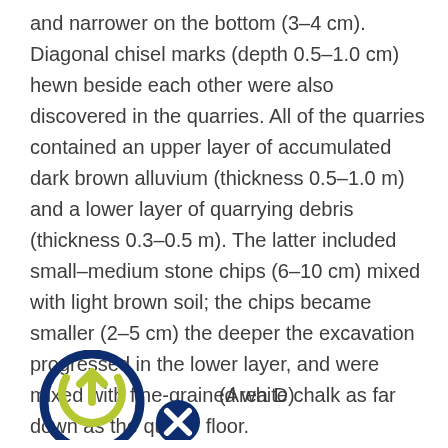and narrower on the bottom (3–4 cm). Diagonal chisel marks (depth 0.5–1.0 cm) hewn beside each other were also discovered in the quarries. All of the quarries contained an upper layer of accumulated dark brown alluvium (thickness 0.5–1.0 m) and a lower layer of quarrying debris (thickness 0.3–0.5 m). The latter included small–medium stone chips (6–10 cm) mixed with light brown soil; the chips became smaller (2–5 cm) the deeper the excavation progressed in the lower layer, and were mixed with fine-grained white chalk as far down as the quarry floor.
[Figure (logo): Circular logo with power/upload icon and a smaller circle with X symbol]
(Area D)